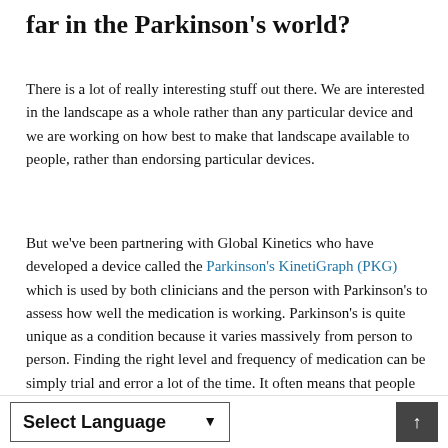far in the Parkinson's world?
There is a lot of really interesting stuff out there. We are interested in the landscape as a whole rather than any particular device and we are working on how best to make that landscape available to people, rather than endorsing particular devices.
But we've been partnering with Global Kinetics who have developed a device called the Parkinson's KinetiGraph (PKG) which is used by both clinicians and the person with Parkinson's to assess how well the medication is working. Parkinson's is quite unique as a condition because it varies massively from person to person. Finding the right level and frequency of medication can be simply trial and error a lot of the time. It often means that people aren't on the optimum levels or delivery methods for their medication. The PKG could have a huge impact on this.
Select Language ▼